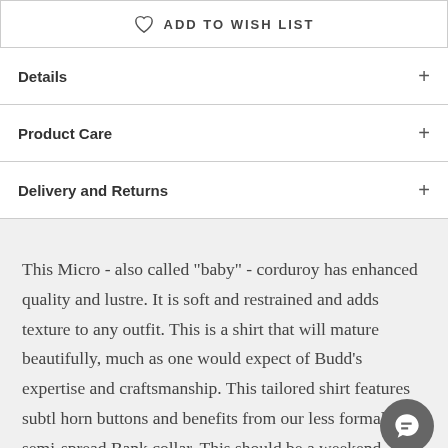ADD TO WISH LIST
Details
Product Care
Delivery and Returns
This Micro - also called "baby" - corduroy has enhanced quality and lustre. It is soft and restrained and adds texture to any outfit. This is a shirt that will mature beautifully, much as one would expect of Budd's expertise and craftsmanship. This tailored shirt features subtl horn buttons and benefits from our less formal, semi-spread Bank collar. This should be a weekend